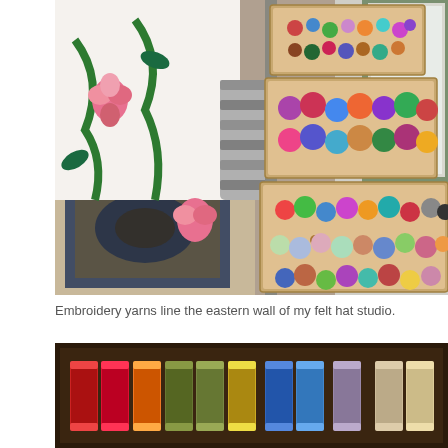[Figure (photo): Photograph showing multiple open wooden drawers filled with colorful yarn balls/skeins in various colors including purple, pink, red, green, blue, and multicolored. A bed with a floral quilt is visible on the left, and a patterned rug is on the floor. A window with gray trim is visible on the right.]
Embroidery yarns line the eastern wall of my felt hat studio.
[Figure (photo): Photograph showing an open wooden drawer containing rows of thread spools in various colors including red, orange, olive/green, gold, blue, gray/lavender, and tan/beige, arranged horizontally in the drawer.]